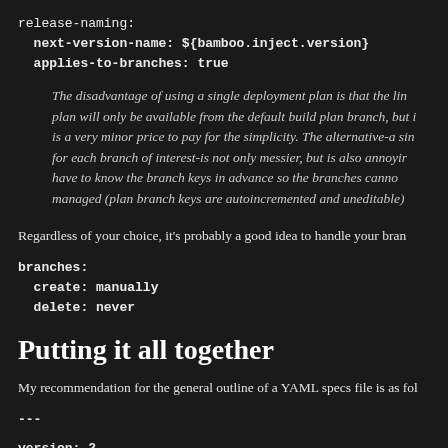release-naming:
  next-version-name: ${bamboo.inject.version}
  applies-to-branches: true
The disadvantage of using a single deployment plan is that the lin... plan will only be available from the default build plan branch, but i... is a very minor price to pay for the simplicity. The alternative-a sin... for each branch of interest-is not only messier, but is also annoyir... have to know the branch keys in advance so the branches canno... managed (plan branch keys are autoincremented and uneditable)...
Regardless of your choice, it's probably a good idea to handle your brane...
branches:
  create: manually
  delete: never
Putting it all together
My recommendation for the general outline of a YAML specs file is as fol...
---
version: 2